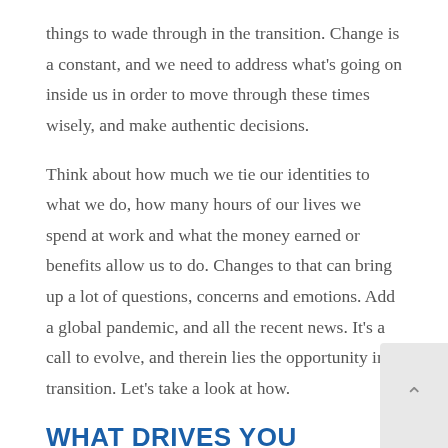things to wade through in the transition. Change is a constant, and we need to address what's going on inside us in order to move through these times wisely, and make authentic decisions.
Think about how much we tie our identities to what we do, how many hours of our lives we spend at work and what the money earned or benefits allow us to do. Changes to that can bring up a lot of questions, concerns and emotions. Add a global pandemic, and all the recent news. It's a call to evolve, and therein lies the opportunity in transition. Let's take a look at how.
WHAT DRIVES YOU
There's a trend in meaningfulness now – in work and your